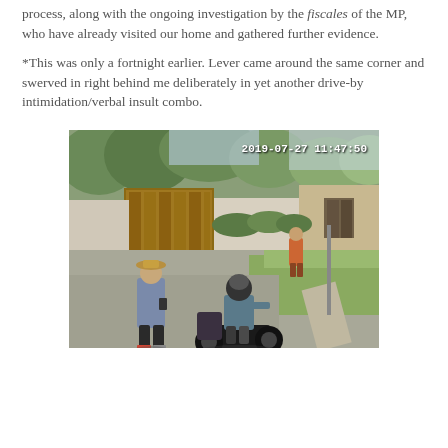process, along with the ongoing investigation by the fiscales of the MP, who have already visited our home and gathered further evidence.
*This was only a fortnight earlier. Lever came around the same corner and swerved in right behind me deliberately in yet another drive-by intimidation/verbal insult combo.
[Figure (photo): Surveillance camera screenshot dated 2019-07-27 11:47:50 showing an outdoor street scene. Two people are visible in the foreground — one standing wearing a hat and grey shirt, another seated on a motorbike. A third person is visible in the background. The scene shows a paved road, grass, trees, a wooden gate, and buildings.]